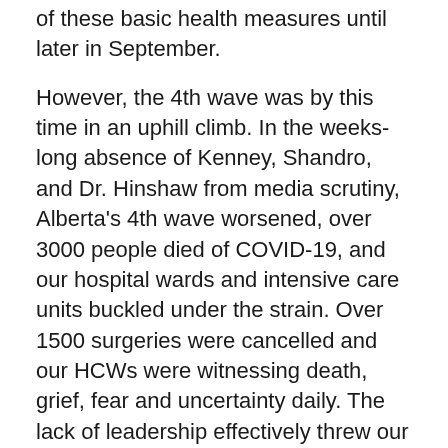of these basic health measures until later in September.
However, the 4th wave was by this time in an uphill climb. In the weeks-long absence of Kenney, Shandro, and Dr. Hinshaw from media scrutiny, Alberta's 4th wave worsened, over 3000 people died of COVID-19, and our hospital wards and intensive care units buckled under the strain. Over 1500 surgeries were cancelled and our HCWs were witnessing death, grief, fear and uncertainty daily. The lack of leadership effectively threw our health care system off a cliff.
Business for this government went about as usual and on August 10, a news release from AHS announced that Hartley R. Harris had become the newest member of the AHS board. Of concern was that Mr. Harris was well known to Alberta's then-Health Minister Shandro, as the Chief Financial Officer for Shandro's 2019...